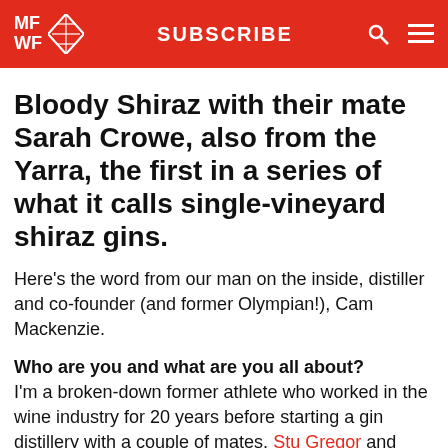MFWF | SUBSCRIBE
Bloody Shiraz with their mate Sarah Crowe, also from the Yarra, the first in a series of what it calls single-vineyard shiraz gins.
Here’s the word from our man on the inside, distiller and co-founder (and former Olympian!), Cam Mackenzie.
Who are you and what are you all about?
I’m a broken-down former athlete who worked in the wine industry for 20 years before starting a gin distillery with a couple of mates, Stu Gregor and Matt Jones.
Give us the elevator pitch; what is Four Pillars x Yarra Yering Underhill Bloody Shiraz?
In 2021 we took our Bloody Shiraz a step further by creating an extremely limited Single Vineyard release, after securing...